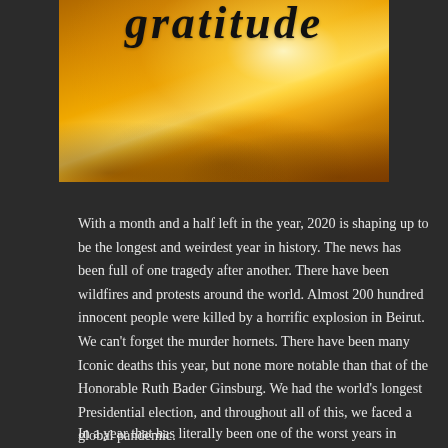[Figure (photo): Warm golden-orange glowing image with sunburst and bokeh/leaf texture, with cursive script text at top reading 'gratitude' (partially visible)]
With a month and a half left in the year, 2020 is shaping up to be the longest and weirdest year in history. The news has been full of one tragedy after another.  There have been wildfires and protests around the world. Almost 200 hundred innocent people were killed by a horrific explosion in Beirut.  We can't forget the murder hornets. There have been many Iconic deaths this year, but none more notable than that of the Honorable Ruth Bader Ginsburg. We had the world's longest Presidential election, and throughout all of this, we faced a global pandemic.
In a year that has literally been one of the worst years in our life, I am still trying to look at the positive things and...